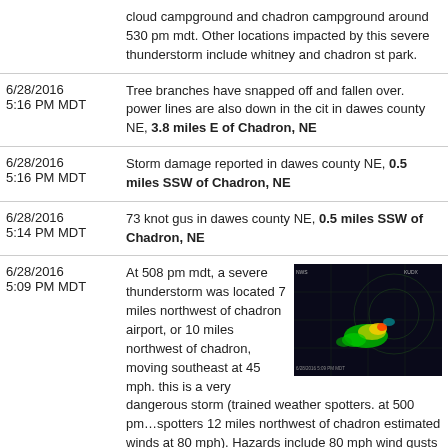| Date/Time | Description |
| --- | --- |
|  | cloud campground and chadron campground around 530 pm mdt. Other locations impacted by this severe thunderstorm include whitney and chadron st park. |
| 6/28/2016
5:16 PM MDT | Tree branches have snapped off and fallen over. power lines are also down in the cit in dawes county NE, 3.8 miles E of Chadron, NE |
| 6/28/2016
5:16 PM MDT | Storm damage reported in dawes county NE, 0.5 miles SSW of Chadron, NE |
| 6/28/2016
5:14 PM MDT | 73 knot gus in dawes county NE, 0.5 miles SSW of Chadron, NE |
| 6/28/2016
5:09 PM MDT | At 508 pm mdt, a severe thunderstorm was located 7 miles northwest of chadron airport, or 10 miles northwest of chadron, moving southeast at 45 mph. this is a very dangerous storm (trained weather spotters. at 500 pm...spotters 12 miles northwest of chadron estimated winds at 80 mph). Hazards include 80 mph wind gusts and ping pong ball size hail. Flying debris will be dangerous to those caught without shelter. mobile homes will be heavily damaged. expect considerable damage to roofs, windows, and vehicles. extensive tree damage and power outages are |